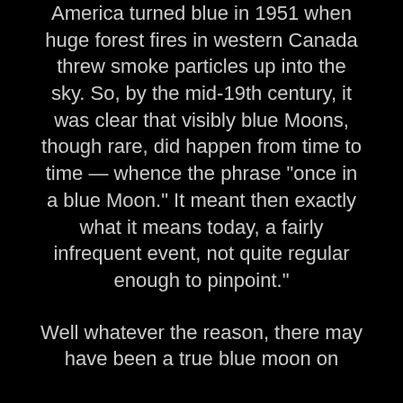America turned blue in 1951 when huge forest fires in western Canada threw smoke particles up into the sky. So, by the mid-19th century, it was clear that visibly blue Moons, though rare, did happen from time to time — whence the phrase "once in a blue Moon." It meant then exactly what it means today, a fairly infrequent event, not quite regular enough to pinpoint."
Well whatever the reason, there may have been a true blue moon on